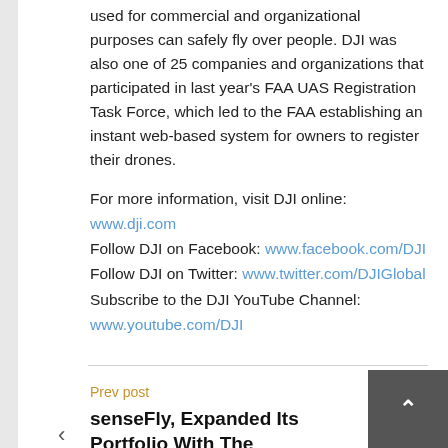used for commercial and organizational purposes can safely fly over people. DJI was also one of 25 companies and organizations that participated in last year's FAA UAS Registration Task Force, which led to the FAA establishing an instant web-based system for owners to register their drones.
For more information, visit DJI online: www.dji.com
Follow DJI on Facebook: www.facebook.com/DJI
Follow DJI on Twitter: www.twitter.com/DJIGlobal
Subscribe to the DJI YouTube Channel: www.youtube.com/DJI
Prev post
senseFly, Expanded Its Portfolio With The Launch Of The New eBee SQ Fixed-wing Agricultural Drone